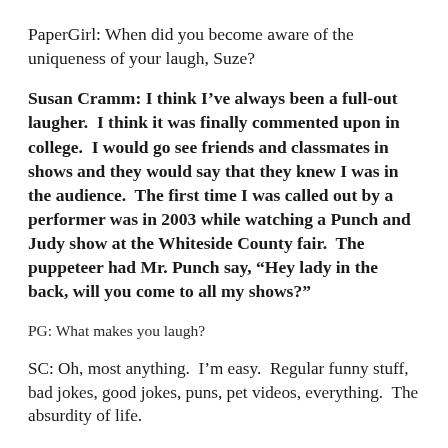PaperGirl: When did you become aware of the uniqueness of your laugh, Suze?
Susan Cramm: I think I’ve always been a full-out laugher.  I think it was finally commented upon in college.  I would go see friends and classmates in shows and they would say that they knew I was in the audience.  The first time I was called out by a performer was in 2003 while watching a Punch and Judy show at the Whiteside County fair.  The puppeteer had Mr. Punch say, “Hey lady in the back, will you come to all my shows?”
PG: What makes you laugh?
SC: Oh, most anything.  I’m easy.  Regular funny stuff, bad jokes, good jokes, puns, pet videos, everything.  The absurdity of life.